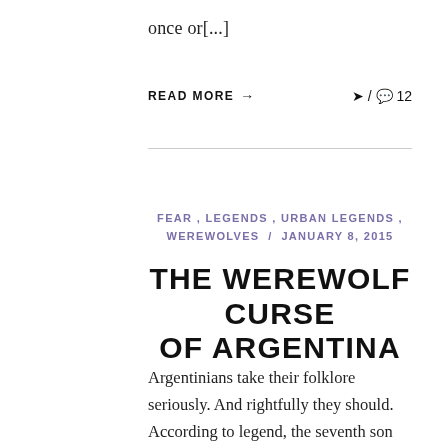once or[...]
READ MORE → ❯ / 💬 12
FEAR , LEGENDS , URBAN LEGENDS , WEREWOLVES / JANUARY 8, 2015
THE WEREWOLF CURSE OF ARGENTINA
Argentinians take their folklore seriously. And rightfully they should. According to legend, the seventh son born to a family is cursed to become a werewolf who feasts on the bodies of unbaptized babies. Yep. I'd take that pretty seriously too. But they take things to a whole